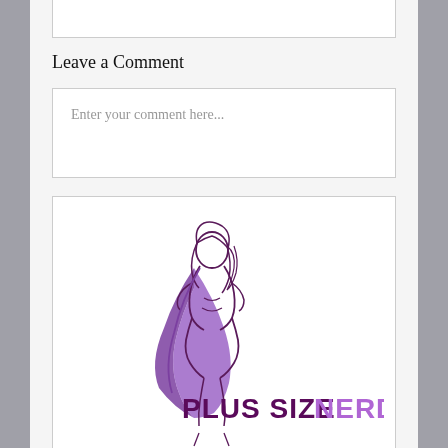Leave a Comment
Enter your comment here...
[Figure (logo): Plus Size Nerd logo featuring a line-art illustration of a curvy woman in a purple cape with the text 'PLUS SIZE NERD' where 'PLUS SIZE' is in dark purple/maroon and 'NERD' is in light purple]